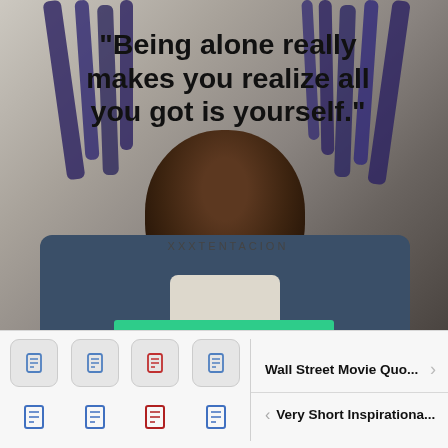[Figure (photo): Photo of XXXTENTACION with blue dreadlocks, overlaid with a quote in bold black text on a muted background]
“Being alone really makes you realize all you got is yourself.”
XXXTENTACION
Wall Street Movie Quo...
Very Short Inspirationa...